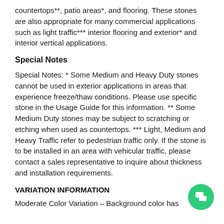countertops**, patio areas*, and flooring. These stones are also appropriate for many commercial applications such as light traffic*** interior flooring and exterior* and interior vertical applications.
Special Notes
Special Notes: * Some Medium and Heavy Duty stones cannot be used in exterior applications in areas that experience freeze/thaw conditions. Please use specific stone in the Usage Guide for this information. ** Some Medium Duty stones may be subject to scratching or etching when used as countertops. *** Light, Medium and Heavy Traffic refer to pedestrian traffic only. If the stone is to be installed in an area with vehicular traffic, please contact a sales representative to inquire about thickness and installation requirements.
VARIATION INFORMATION
Moderate Color Variation – Background color has